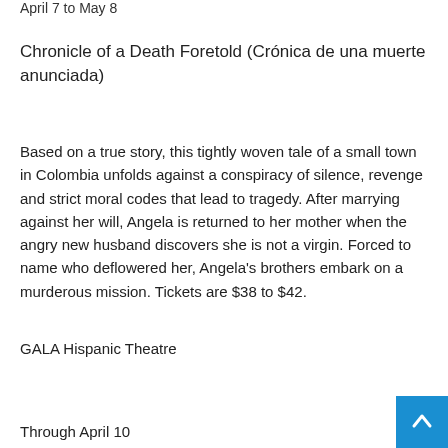April 7 to May 8
Chronicle of a Death Foretold (Crónica de una muerte anunciada)
Based on a true story, this tightly woven tale of a small town in Colombia unfolds against a conspiracy of silence, revenge and strict moral codes that lead to tragedy. After marrying against her will, Angela is returned to her mother when the angry new husband discovers she is not a virgin. Forced to name who deflowered her, Angela's brothers embark on a murderous mission. Tickets are $38 to $42.
GALA Hispanic Theatre
Through April 10